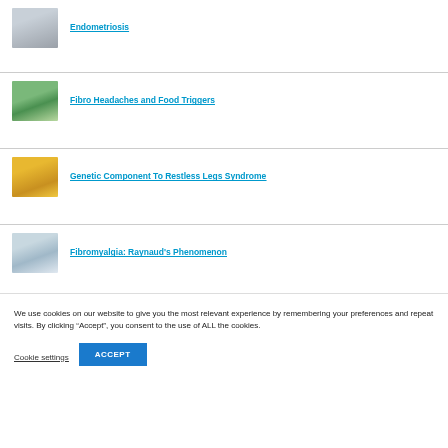Endometriosis
Fibro Headaches and Food Triggers
Genetic Component To Restless Legs Syndrome
Fibromyalgia: Raynaud's Phenomenon
We use cookies on our website to give you the most relevant experience by remembering your preferences and repeat visits. By clicking “Accept”, you consent to the use of ALL the cookies.
Cookie settings
ACCEPT